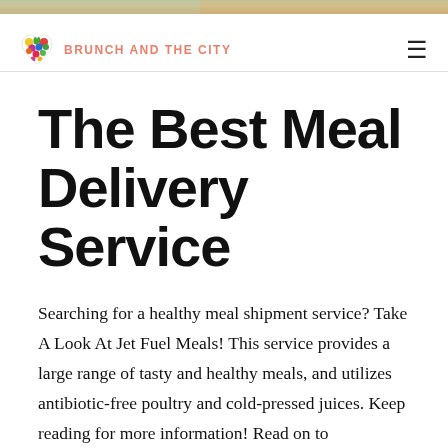[Figure (illustration): Top image strip showing food/brunch imagery partially visible at the very top of the page]
BRUNCH AND THE CITY
The Best Meal Delivery Service
Searching for a healthy meal shipment service? Take A Look At Jet Fuel Meals! This service provides a large range of tasty and healthy meals, and utilizes antibiotic-free poultry and cold-pressed juices. Keep reading for more information! Read on to